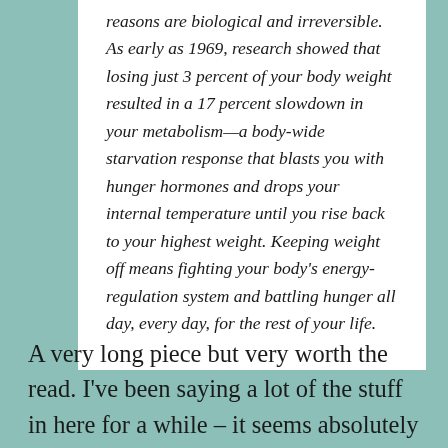reasons are biological and irreversible. As early as 1969, research showed that losing just 3 percent of your body weight resulted in a 17 percent slowdown in your metabolism—a body-wide starvation response that blasts you with hunger hormones and drops your internal temperature until you rise back to your highest weight. Keeping weight off means fighting your body's energy-regulation system and battling hunger all day, every day, for the rest of your life.
A very long piece but very worth the read. I've been saying a lot of the stuff in here for a while – it seems absolutely wild that the recommendations given to fat people are so ideologically driven with absolutely no care given to the effectiveness of the advice. Did you know that we can't even test the hypothesis